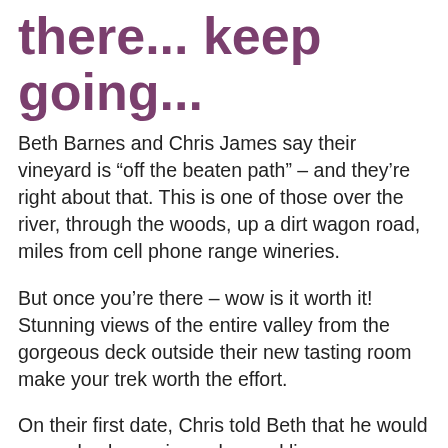there... keep going...
Beth Barnes and Chris James say their vineyard is “off the beaten path” – and they’re right about that. This is one of those over the river, through the woods, up a dirt wagon road, miles from cell phone range wineries.
But once you’re there – wow is it worth it! Stunning views of the entire valley from the gorgeous deck outside their new tasting room make your trek worth the effort.
On their first date, Chris told Beth that he would some day be a winemaker and live on a vineyard so she would